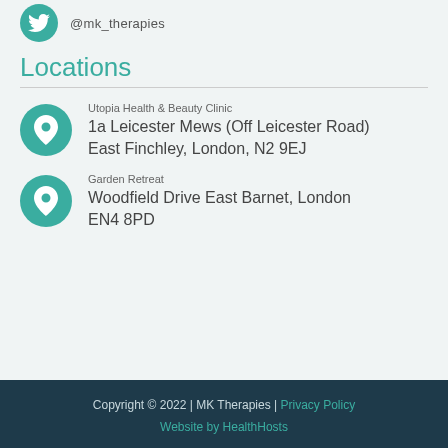@mk_therapies
Locations
Utopia Health & Beauty Clinic
1a Leicester Mews (Off Leicester Road) East Finchley, London, N2 9EJ
Garden Retreat
Woodfield Drive East Barnet, London EN4 8PD
Copyright © 2022 | MK Therapies | Privacy Policy
Website by HealthHosts